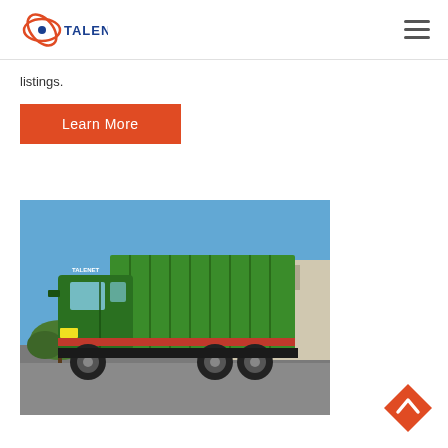TALENET
listings.
Learn More
[Figure (photo): Green dump truck (HOWO) parked in a yard with blue sky background and industrial buildings behind it. The truck has a large green tipper body with ribbed sides and red trim details.]
[Figure (other): Orange/red diamond-shaped back-to-top button with upward-pointing chevron arrow]